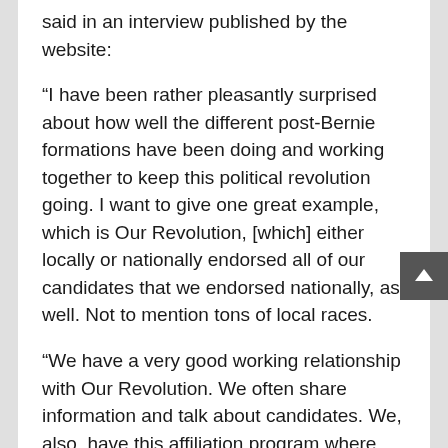said in an interview published by the website:
“I have been rather pleasantly surprised about how well the different post-Bernie formations have been doing and working together to keep this political revolution going. I want to give one great example, which is Our Revolution, [which] either locally or nationally endorsed all of our candidates that we endorsed nationally, as well. Not to mention tons of local races.
“We have a very good working relationship with Our Revolution. We often share information and talk about candidates. We, also, have this affiliation program where DSA chapters can be the local Our Revolution chapter, as well. That is to avoid unnecessary conflicts, duplication of efforts. So, our Knoxville chapter which helped elect two DSA members is, also, the Our Revolution chapter.”